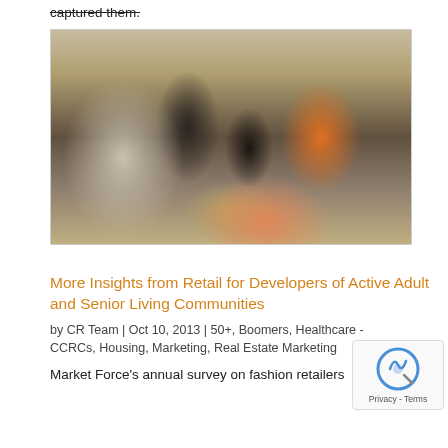captured them.
[Figure (photo): Indoor gathering/event scene with several people shaking hands and socializing. A woman in a gray floral top is shaking hands with someone. A man in a dark jacket stands nearby. An older woman and a woman in an orange jacket are visible. Colorful flowers are in the foreground. Blue balloons and tables are visible in the background.]
More Insights from Retail for Developers of Active Adult and Senior Living Communities
by CR Team | Oct 10, 2013 | 50+, Boomers, Healthcare - CCRCs, Housing, Marketing, Real Estate Marketing
Market Force's annual survey on fashion retailers